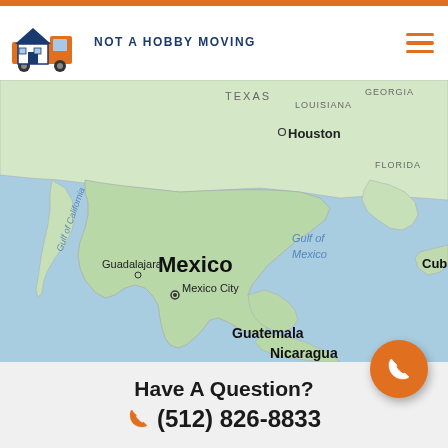NOT A HOBBY MOVING
[Figure (map): Google Maps view showing Mexico, Gulf of Mexico, southern USA (Texas, Louisiana, Georgia, Florida), Central America (Guatemala, Nicaragua), and Cuba. Cities labeled: Houston, Guadalajara, Mexico City, Guatemala. Geographic features: Gulf of California, Gulf of Mexico.]
Have A Question?
(512) 826-8833